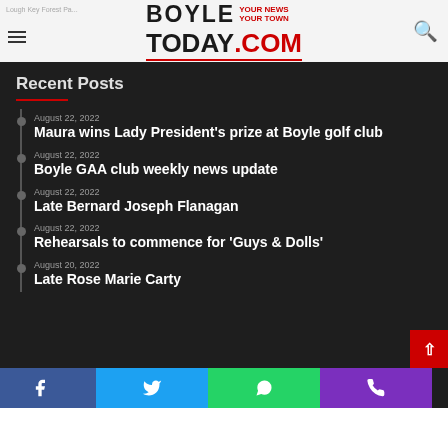BoyleToday.com – YOUR NEWS YOUR TOWN
Recent Posts
August 22, 2022 – Maura wins Lady President's prize at Boyle golf club
August 22, 2022 – Boyle GAA club weekly news update
August 22, 2022 – Late Bernard Joseph Flanagan
August 22, 2022 – Rehearsals to commence for 'Guys & Dolls'
August 20, 2022 – Late Rose Marie Carty